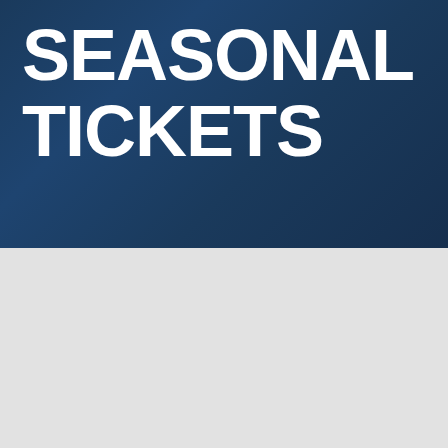[Figure (illustration): Dark navy blue background with lighter gradient highlights, occupying the top half of the page]
SEASONAL TICKETS
[Figure (illustration): Light grey background occupying the bottom half of the page]